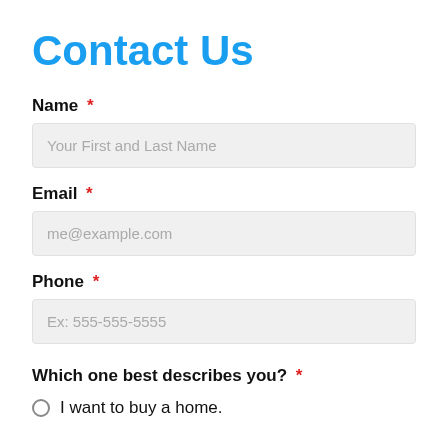Contact Us
Name *
Your First and Last Name
Email *
me@example.com
Phone *
Ex: 555-555-5555
Which one best describes you? *
I want to buy a home.